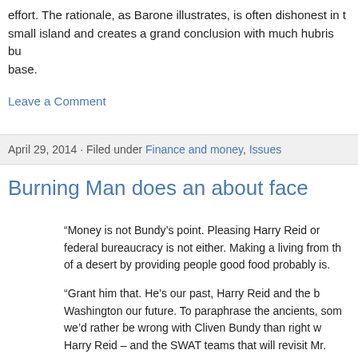effort. The rationale, as Barone illustrates, is often dishonest in t small island and creates a grand conclusion with much hubris bu base.
Leave a Comment
April 29, 2014 · Filed under Finance and money, Issues
Burning Man does an about face
“Money is not Bundy’s point. Pleasing Harry Reid or federal bureaucracy is not either. Making a living from th of a desert by providing people good food probably is.
“Grant him that. He’s our past, Harry Reid and the b Washington our future. To paraphrase the ancients, som we’d rather be wrong with Cliven Bundy than right w Harry Reid – and the SWAT teams that will revisit Mr. and his clan very, very soon to enforce a dispute over gr fees and insensitivity to a tortoise.”